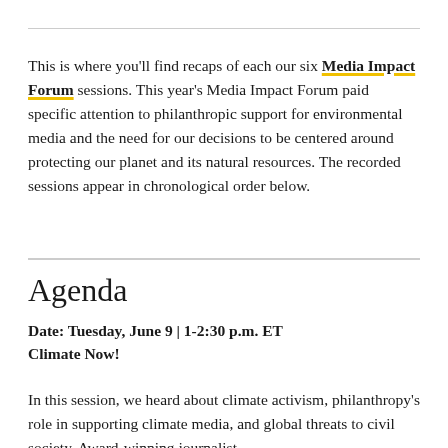This is where you'll find recaps of each our six Media Impact Forum sessions. This year's Media Impact Forum paid specific attention to philanthropic support for environmental media and the need for our decisions to be centered around protecting our planet and its natural resources. The recorded sessions appear in chronological order below.
Agenda
Date: Tuesday, June 9 | 1-2:30 p.m. ET
Climate Now!
In this session, we heard about climate activism, philanthropy's role in supporting climate media, and global threats to civil society. Award-winning journalist